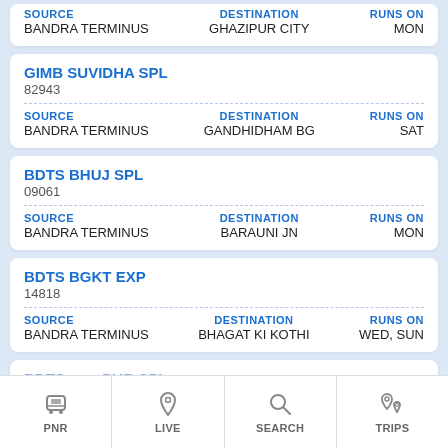| SOURCE | DESTINATION | RUNS ON |
| --- | --- | --- |
| BANDRA TERMINUS | GHAZIPUR CITY | MON |
GIMB SUVIDHA SPL
82943
| SOURCE | DESTINATION | RUNS ON |
| --- | --- | --- |
| BANDRA TERMINUS | GANDHIDHAM BG | SAT |
BDTS BHUJ SPL
09061
| SOURCE | DESTINATION | RUNS ON |
| --- | --- | --- |
| BANDRA TERMINUS | BARAUNI JN | MON |
BDTS BGKT EXP
14818
| SOURCE | DESTINATION | RUNS ON |
| --- | --- | --- |
| BANDRA TERMINUS | BHAGAT KI KOTHI | WED, SUN |
BDTS PUR SPL
09002
PNR | LIVE | SEARCH | TRIPS